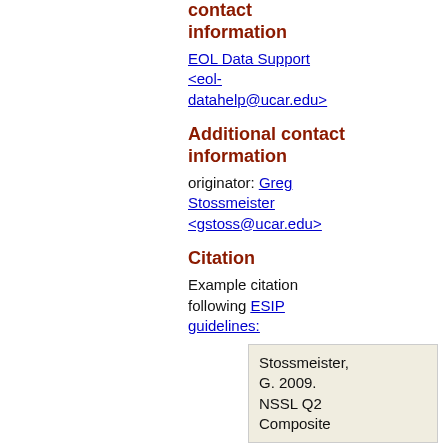contact information
EOL Data Support <eol-datahelp@ucar.edu>
Additional contact information
originator: Greg Stossmeister <gstoss@ucar.edu>
Citation
Example citation following ESIP guidelines:
Stossmeister, G. 2009. NSSL Q2 Composite